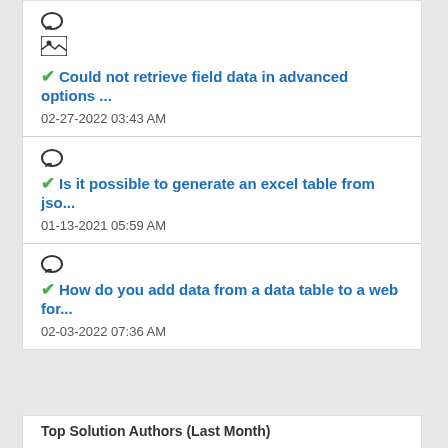Could not retrieve field data in advanced options ...  02-27-2022 03:43 AM
Is it possible to generate an excel table from jso...  01-13-2021 05:59 AM
How do you add data from a data table to a web for...  02-03-2022 07:36 AM
Top Solution Authors (Last Month)